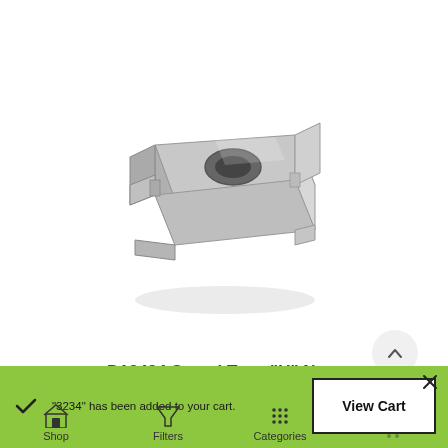[Figure (photo): A metallic speed type U-nut clip/fastener, silver colored, shown in 3D perspective. The part has a rectangular body with bent flanges on the sides and an oval slot/hole in the center top surface.]
D13434 Speed Type "U" Nuts
"3234" has been added to your cart.
Shop   Filters   Categories   View Cart